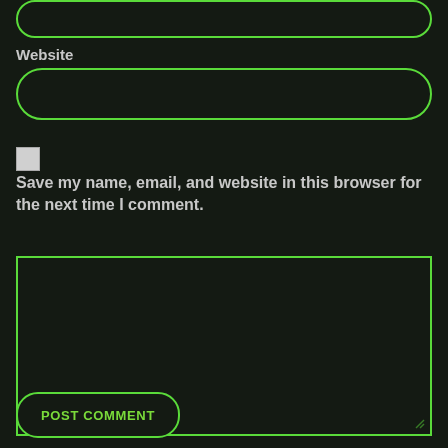[Figure (screenshot): Top input field with green rounded border on dark background]
Website
[Figure (screenshot): Website input field with green rounded border on dark background]
[Figure (screenshot): Checkbox (unchecked, light gray/white fill)]
Save my name, email, and website in this browser for the next time I comment.
[Figure (screenshot): Large textarea with green border and resize handle in bottom-right corner]
[Figure (screenshot): POST COMMENT button with green rounded border and green text]